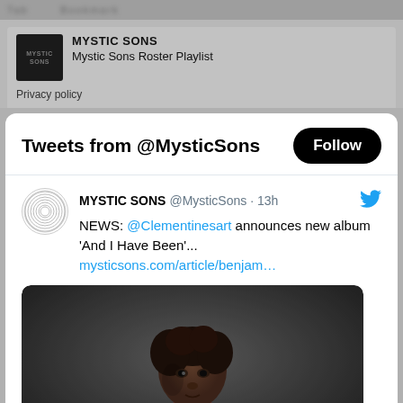Mystic Sons Roster Playlist
Privacy policy
Tweets from @MysticSons
MYSTIC SONS @MysticSons · 13h NEWS: @Clementinesart announces new album 'And I Have Been'... mysticsons.com/article/benjam…
[Figure (photo): Photo of a person wearing a red turtleneck sweater against a dark grey background, looking slightly to the side.]